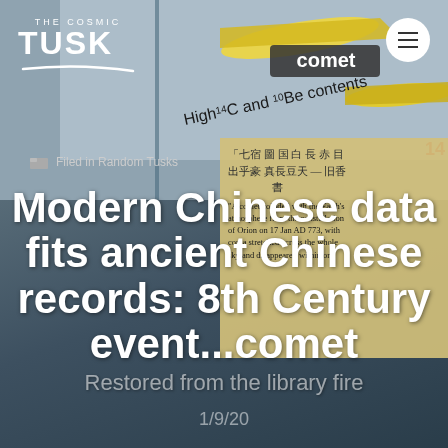[Figure (illustration): Website screenshot of The Cosmic Tusk blog. Top portion shows a scientific diagram with yellow comet/arrow shapes on a light background with text labels 'comet', 'High 14C and 10Be contents'. Lower portion overlaid with a beige/tan image of Chinese manuscript text and English translation excerpt about a comet colliding with Earth's atmosphere from the constellation of Orion on 17 Jan AD 773.]
THE COSMIC TUSK
Filed in Random Tusks
Modern Chinese data fits ancient Chinese records: 8th Century event...comet
Restored from the library fire
1/9/20